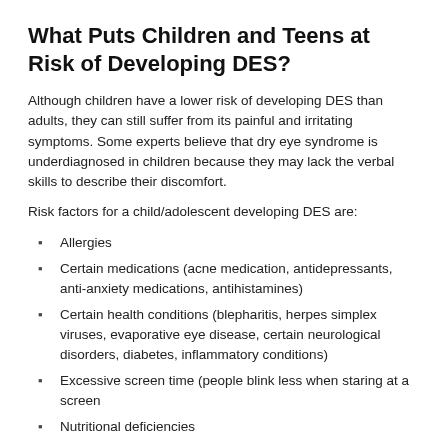What Puts Children and Teens at Risk of Developing DES?
Although children have a lower risk of developing DES than adults, they can still suffer from its painful and irritating symptoms. Some experts believe that dry eye syndrome is underdiagnosed in children because they may lack the verbal skills to describe their discomfort.
Risk factors for a child/adolescent developing DES are:
Allergies
Certain medications (acne medication, antidepressants, anti-anxiety medications, antihistamines)
Certain health conditions (blepharitis, herpes simplex viruses, evaporative eye disease, certain neurological disorders, diabetes, inflammatory conditions)
Excessive screen time (people blink less when staring at a screen
Nutritional deficiencies